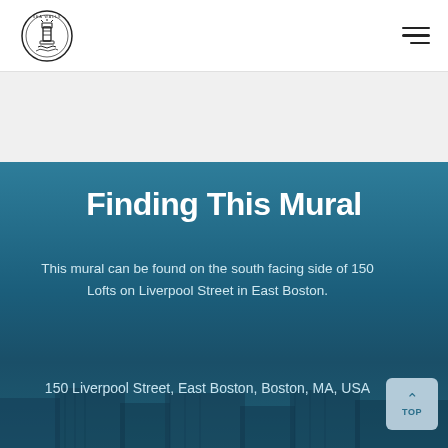[Figure (logo): Sea Walls circular logo with lighthouse illustration]
Finding This Mural
This mural can be found on the south facing side of 150 Lofts on Liverpool Street in East Boston.
150 Liverpool Street, East Boston, Boston, MA, USA